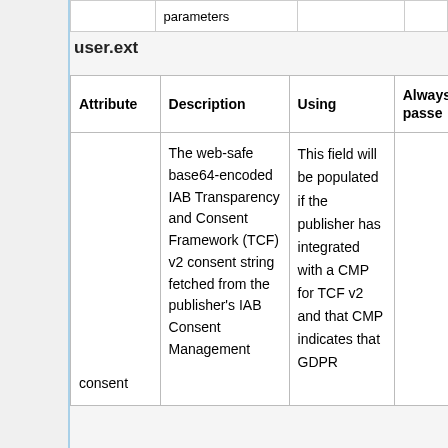|  | parameters |  |  |
user.ext
| Attribute | Description | Using | Always passed |
| --- | --- | --- | --- |
| consent | The web-safe base64-encoded IAB Transparency and Consent Framework (TCF) v2 consent string fetched from the publisher's IAB Consent Management | This field will be populated if the publisher has integrated with a CMP for TCF v2 and that CMP indicates that GDPR |  |